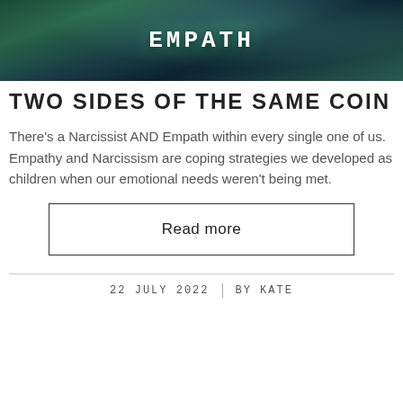[Figure (photo): Dark teal/green digital matrix background image with the word EMPATH displayed in bold white monospace letters centered on the image]
TWO SIDES OF THE SAME COIN
There's a Narcissist AND Empath within every single one of us.
Empathy and Narcissism are coping strategies we developed as children when our emotional needs weren't being met.
Read more
22 JULY 2022 | BY KATE